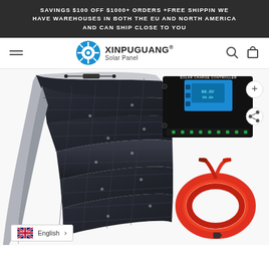SAVINGS $100 OFF $1000+ ORDERS +FREE SHIPPIN WE HAVE WAREHOUSES IN BOTH THE EU AND NORTH AMERICA AND CAN SHIP CLOSE TO YOU
[Figure (logo): Xinpuguang Solar Panel logo with circular blue/white starburst icon and brand name]
[Figure (photo): Large flexible black solar panel curved dramatically, showing photovoltaic cells and wiring connectors on top]
[Figure (photo): Solar charge controller device with blue LCD display and black housing, showing plus and share buttons]
[Figure (photo): Red and orange coiled electrical cable with battery clamps/connectors at the ends]
English